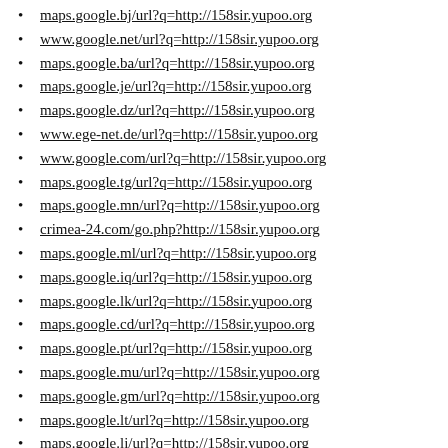maps.google.bj/url?q=http://158sir.yupoo.org
www.google.net/url?q=http://158sir.yupoo.org
maps.google.ba/url?q=http://158sir.yupoo.org
maps.google.je/url?q=http://158sir.yupoo.org
maps.google.dz/url?q=http://158sir.yupoo.org
www.ege-net.de/url?q=http://158sir.yupoo.org
www.google.com/url?q=http://158sir.yupoo.org
maps.google.tg/url?q=http://158sir.yupoo.org
maps.google.mn/url?q=http://158sir.yupoo.org
crimea-24.com/go.php?http://158sir.yupoo.org
maps.google.ml/url?q=http://158sir.yupoo.org
maps.google.iq/url?q=http://158sir.yupoo.org
maps.google.lk/url?q=http://158sir.yupoo.org
maps.google.cd/url?q=http://158sir.yupoo.org
maps.google.pt/url?q=http://158sir.yupoo.org
maps.google.mu/url?q=http://158sir.yupoo.org
maps.google.gm/url?q=http://158sir.yupoo.org
maps.google.lt/url?q=http://158sir.yupoo.org
maps.google.li/url?q=http://158sir.yupoo.org